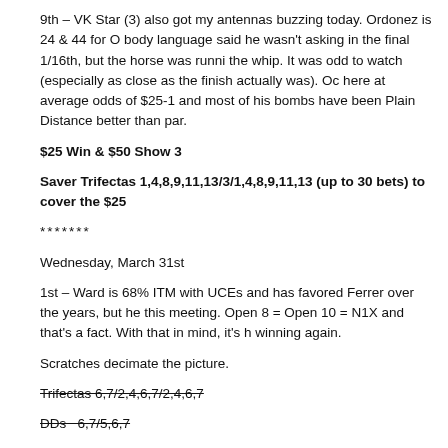9th – VK Star (3) also got my antennas buzzing today. Ordonez is 24 & 44 for O body language said he wasn't asking in the final 1/16th, but the horse was runni the whip. It was odd to watch (especially as close as the finish actually was). Oc here at average odds of $25-1 and most of his bombs have been Plain Distance better than par.
$25 Win & $50 Show 3
Saver Trifectas 1,4,8,9,11,13/3/1,4,8,9,11,13 (up to 30 bets) to cover the $25
*******
Wednesday, March 31st
1st – Ward is 68% ITM with UCEs and has favored Ferrer over the years, but he this meeting. Open 8 = Open 10 = N1X and that's a fact. With that in mind, it's h winning again.
Scratches decimate the picture.
Trifectas 6,7/2,4,6,7/2,4,6,7
DDs  6,7/5,6,7